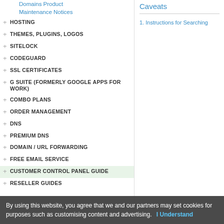Domains Product Maintenance Notices
+ HOSTING
+ THEMES, PLUGINS, LOGOS
+ SITELOCK
+ CODEGUARD
+ SSL CERTIFICATES
+ G SUITE (FORMERLY GOOGLE APPS FOR WORK)
+ COMBO PLANS
+ ORDER MANAGEMENT
+ DNS
+ PREMIUM DNS
+ DOMAIN / URL FORWARDING
+ FREE EMAIL SERVICE
+ CUSTOMER CONTROL PANEL GUIDE
+ RESELLER GUIDES
Caveats
1. Instructions for Searching
By using this website, you agree that we and our partners may set cookies for purposes such as customising content and advertising. I Understand